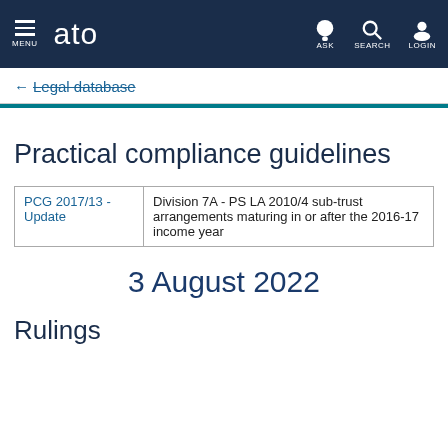ATO - MENU | ASK | SEARCH | LOGIN
← Legal database
Practical compliance guidelines
|  |  |
| --- | --- |
| PCG 2017/13 - Update | Division 7A - PS LA 2010/4 sub-trust arrangements maturing in or after the 2016-17 income year |
3 August 2022
Rulings